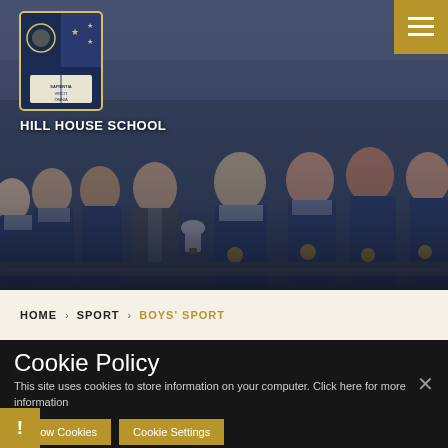[Figure (photo): School sports team photo: group of teenage boys in navy/gold/white striped rugby jerseys with gold medals, posing with an adult in a suit who is holding a trophy cup. Stadium seating visible in background. Hill House School logo (shield with stars) visible top left. Golden hamburger menu top right.]
HILL HOUSE SCHOOL
HOME > SPORT > BOYS' SPORT
Cookie Policy
This site uses cookies to store information on your computer. Click here for more information
Allow Cookies
Cookie Settings